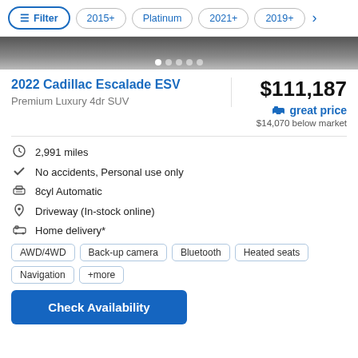Filter | 2015+ | Platinum | 2021+ | 2019+ >
[Figure (photo): Cropped car image strip with navigation dots]
2022 Cadillac Escalade ESV
Premium Luxury 4dr SUV
$111,187
great price
$14,070 below market
2,991 miles
No accidents, Personal use only
8cyl Automatic
Driveway (In-stock online)
Home delivery*
AWD/4WD  Back-up camera  Bluetooth  Heated seats  Navigation  +more
Check Availability